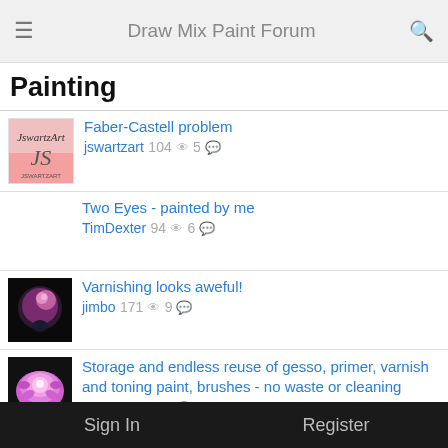Draw Mix Paint Forum
Painting
Faber-Castell problem — jswartzart 104 views 5 comments
Two Eyes - painted by me — TimDexter 94 views 6 comments
Varnishing looks aweful! — jimbo 171 views 9 comments
Storage and endless reuse of gesso, primer, varnish and toning paint, brushes - no waste or cleaning — dencal 93 views 5 comments
Can I apply acrylic paint over OP linen to tone it? — sonnystrauss 71 views 2 comments
Can I used refined linseed oil on WMO paint? — sonnystrauss 54 views 2 comments
Sign In     Register